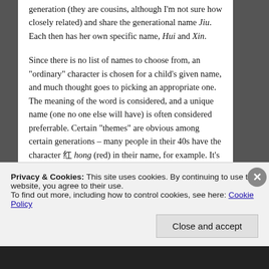generation (they are cousins, although I'm not sure how closely related) and share the generational name Jiu. Each then has her own specific name, Hui and Xin.

Since there is no list of names to choose from, an "ordinary" character is chosen for a child's given name, and much thought goes to picking an appropriate one. The meaning of the word is considered, and a unique name (one no one else will have) is often considered preferrable. Certain "themes" are obvious among certain generations – many people in their 40s have the character 红 hong (red) in their name, for example. It's not uncommon for well educated families to choose characters that are quite obscure – used only in poetry rather than
Privacy & Cookies: This site uses cookies. By continuing to use this website, you agree to their use.
To find out more, including how to control cookies, see here: Cookie Policy
Close and accept